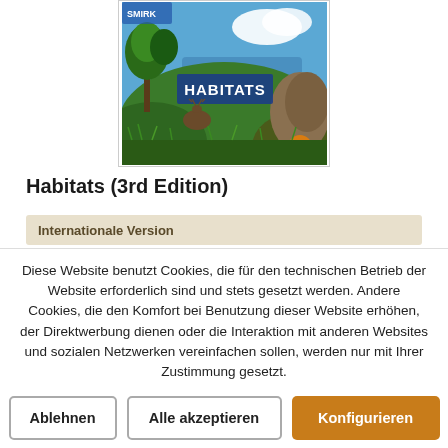[Figure (photo): Board game box for Habitats (3rd Edition) showing wildlife and nature scenery with deer, trees, and water]
Habitats (3rd Edition)
Internationale Version
Diese Website benutzt Cookies, die für den technischen Betrieb der Website erforderlich sind und stets gesetzt werden. Andere Cookies, die den Komfort bei Benutzung dieser Website erhöhen, der Direktwerbung dienen oder die Interaktion mit anderen Websites und sozialen Netzwerken vereinfachen sollen, werden nur mit Ihrer Zustimmung gesetzt.
Ablehnen | Alle akzeptieren | Konfigurieren